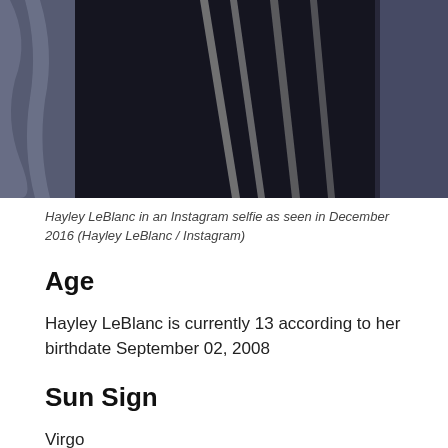[Figure (photo): Partial photo of Hayley LeBlanc in an Instagram selfie, showing close-up of clothing with dark fabric and light stripes, as seen in December 2016]
Hayley LeBlanc in an Instagram selfie as seen in December 2016 (Hayley LeBlanc / Instagram)
Age
Hayley LeBlanc is currently 13 according to her birthdate September 02, 2008
Sun Sign
Virgo
Born Place
Katy, Texas, United States